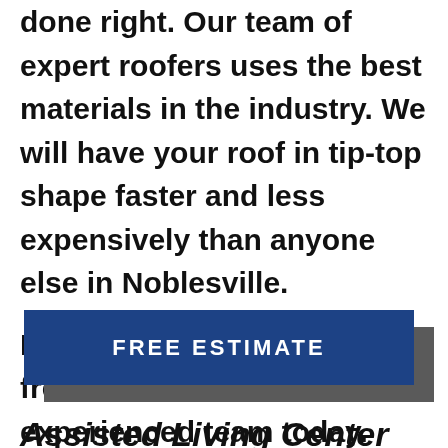done right. Our team of expert roofers uses the best materials in the industry. We will have your roof in tip-top shape faster and less expensively than anyone else in Noblesville.

Ready to get started on your free estimate? Call our experienced team today.
[Figure (other): A dark blue button labeled FREE ESTIMATE with a grey shadow offset to the bottom-right]
Assisted Living Center